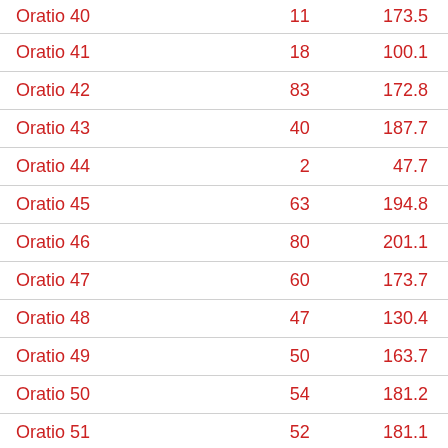| Oratio 40 | 11 | 173.5 |
| Oratio 41 | 18 | 100.1 |
| Oratio 42 | 83 | 172.8 |
| Oratio 43 | 40 | 187.7 |
| Oratio 44 | 2 | 47.7 |
| Oratio 45 | 63 | 194.8 |
| Oratio 46 | 80 | 201.1 |
| Oratio 47 | 60 | 173.7 |
| Oratio 48 | 47 | 130.4 |
| Oratio 49 | 50 | 163.7 |
| Oratio 50 | 54 | 181.2 |
| Oratio 51 | 52 | 181.1 |
| Oratio 52 | 92 | 197.8 |
| Oratio 53 | 55 | 203.0 |